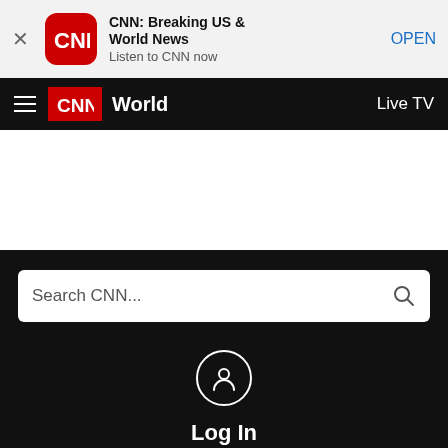[Figure (screenshot): CNN app install banner with close X button, CNN logo icon, app name 'CNN: Breaking US & World News', subtitle 'Listen to CNN now', and OPEN link]
CNN World   Live TV
Search CNN...
Log In
Live TV